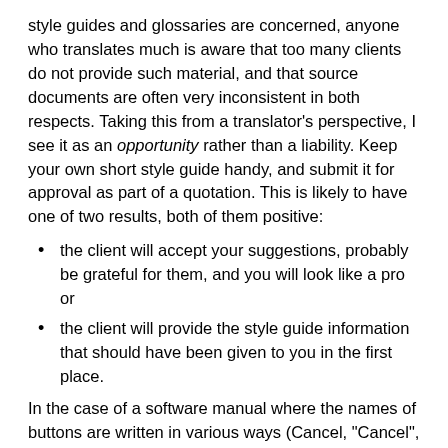style guides and glossaries are concerned, anyone who translates much is aware that too many clients do not provide such material, and that source documents are often very inconsistent in both respects. Taking this from a translator's perspective, I see it as an opportunity rather than a liability. Keep your own short style guide handy, and submit it for approval as part of a quotation. This is likely to have one of two results, both of them positive:
the client will accept your suggestions, probably be grateful for them, and you will look like a pro or
the client will provide the style guide information that should have been given to you in the first place.
In the case of a software manual where the names of buttons are written in various ways (Cancel, "Cancel", Cancel, Cancel, , Cancel, etc.) in the same document, I expect the first reaction.
When glossaries are not provided by clients, they have long been part of the "add-on business" or extra service I provide